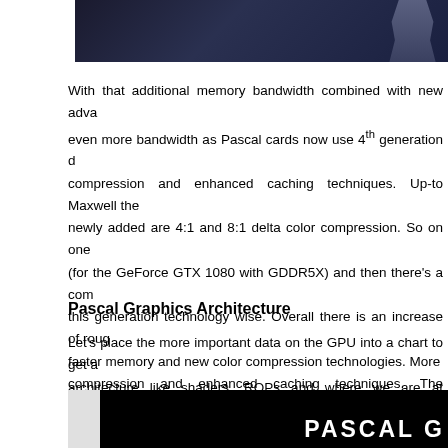[Figure (photo): Top portion of a photo showing a person in dark clothing against a dark background]
With that additional memory bandwidth combined with new advanced even more bandwidth as Pascal cards now use 4th generation d compression and enhanced caching techniques. Up-to Maxwell the newly added are 4:1 and 8:1 delta color compression. So on one (for the GeForce GTX 1080 with GDDR5X) and then there's a com this generation technology wise. Overall there is an increase of rou faster memory and new color compression technologies. More compression and enhanced caching techniques. The effectivene specifics of which pixel ordering is chosen for the delta color calcu number of bytes that have to be fetched from memory per frame.
Pascal Graphics Architecture
Let's place the more important data on the GPU into a chart to get a architecture like shaders, ROPs and where we are at frequencies w
[Figure (photo): Bottom portion showing a dark image with 'PASCAL G' text in white bold font]